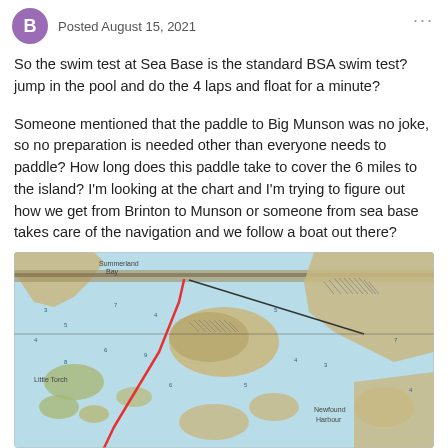Posted August 15, 2021
So the swim test at Sea Base is the standard BSA swim test?  jump in the pool and do the 4 laps and float for a minute?
Someone mentioned that the paddle to Big Munson was no joke, so no preparation is needed other than everyone needs to paddle?  How long does this paddle take to cover the 6 miles to the island?   I'm looking at the chart and I'm trying to figure out how we get from Brinton to Munson or someone from sea base takes care of the navigation and we follow a boat out there?
[Figure (map): Nautical chart showing the Florida Keys area with a red route line drawn from Brinton to Big Munson Island and a black line also marked on the chart. The map shows water in light blue/teal, land masses in tan/beige, and navigational markers.]